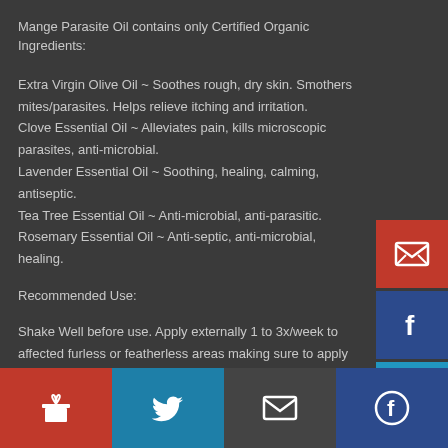Mange Parasite Oil contains only Certified Organic Ingredients:
Extra Virgin Olive Oil ~ Soothes rough, dry skin. Smothers mites/parasites. Helps relieve itching and irritation.
Clove Essential Oil ~ Alleviates pain, kills microscopic parasites, anti-microbial.
Lavender Essential Oil ~ Soothing, healing, calming, antiseptic.
Tea Tree Essential Oil ~ Anti-microbial, anti-parasitic.
Rosemary Essential Oil ~ Anti-septic, anti-microbial, healing.
Recommended Use:
Shake Well before use. Apply externally 1 to 3x/week to affected furless or featherless areas making sure to apply 1/2" to 1" into the surrounding fur/feather area, as that is where the mites currently reside. Ear mites: apply in and around the ear using a cotton ball. Apply thoroughly to severe leathery skin for best effectiveness.